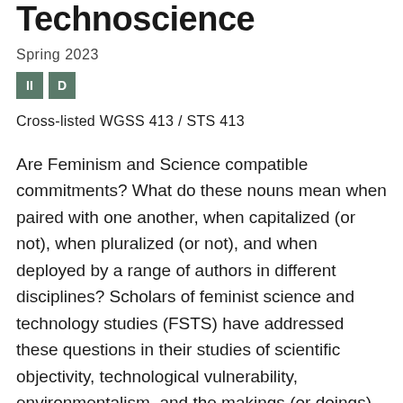Technoscience
Spring 2023
II D
Cross-listed WGSS 413 / STS 413
Are Feminism and Science compatible commitments? What do these nouns mean when paired with one another, when capitalized (or not), when pluralized (or not), and when deployed by a range of authors in different disciplines? Scholars of feminist science and technology studies (FSTS) have addressed these questions in their studies of scientific objectivity, technological vulnerability, environmentalism, and the makings (or doings) of race as well as gender. We will explore these questions and topics with an eye to identifying the range of